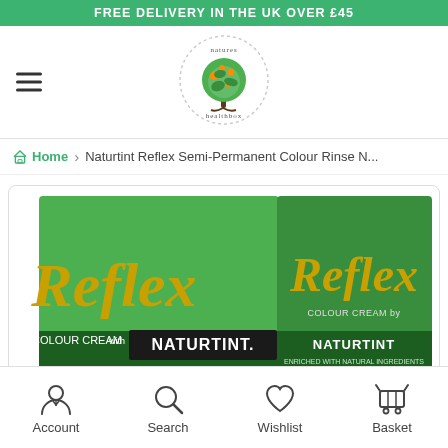FREE DELIVERY IN THE UK OVER £45
[Figure (logo): Natures Healthbox circular logo with tree illustration and dotted border]
Home › Naturtint Reflex Semi-Permanent Colour Rinse N...
[Figure (photo): Naturtint Reflex Semi-Permanent Colour Cream product box in green with gold lettering, showing front and side panels]
Account | Search | Wishlist | Basket